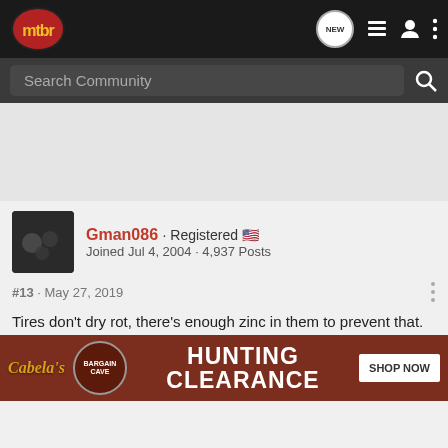mtbr - Search Community
[Figure (screenshot): mtbr forum website header with logo, search bar, and navigation icons]
Gman086 · Registered 🇺🇸
Joined Jul 4, 2004 · 4,937 Posts
#13 · May 27, 2019
Tires don't dry rot, there's enough zinc in them to prevent that. They DO oxidze and potentially crack for these main reasons: 1. Ozone - biggest issue so NEVER store your tires anywhere near an ... bad place to ...
[Figure (screenshot): Cabela's Bargain Cave Hunting Clearance advertisement banner with Shop Now button]